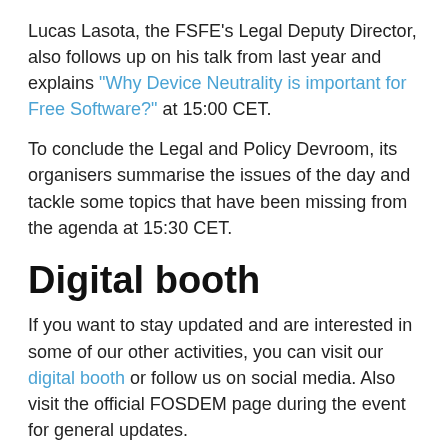Lucas Lasota, the FSFE's Legal Deputy Director, also follows up on his talk from last year and explains "Why Device Neutrality is important for Free Software?" at 15:00 CET.
To conclude the Legal and Policy Devroom, its organisers summarise the issues of the day and tackle some topics that have been missing from the agenda at 15:30 CET.
Digital booth
If you want to stay updated and are interested in some of our other activities, you can visit our digital booth or follow us on social media. Also visit the official FOSDEM page during the event for general updates.
DISCUSS THIS ▶
Tags: FOSDEM event
Share and support